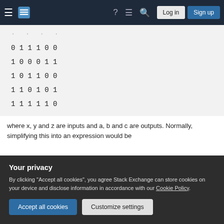Stack Exchange navigation bar with logo, icons, Log in, Sign up
[Figure (screenshot): Partially visible top of code block (faded digits visible)]
0 1 1 1 0 0
1 0 0 0 1 1
1 0 1 1 0 0
1 1 0 1 0 1
1 1 1 1 1 0
where x, y and z are inputs and a, b and c are outputs. Normally, simplifying this into an expression would be
Your privacy
By clicking "Accept all cookies", you agree Stack Exchange can store cookies on your device and disclose information in accordance with our Cookie Policy.
Accept all cookies  Customize settings